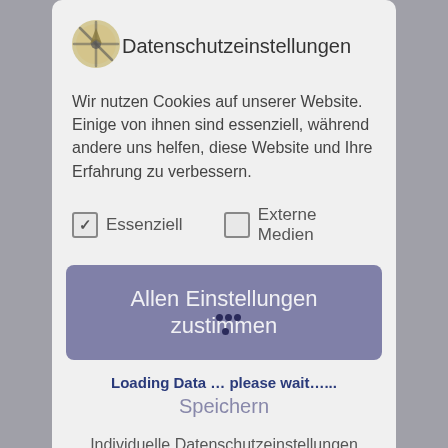Datenschutzeinstellungen
Wir nutzen Cookies auf unserer Website. Einige von ihnen sind essenziell, während andere uns helfen, diese Website und Ihre Erfahrung zu verbessern.
✓ Essenziell
☐ Externe Medien
Allen Einstellungen zustimmen
Loading Data … please wait ...
Speichern
Individuelle Datenschutzeinstellungen
Cookie-Details | Datenschutzerklärung | Impressum